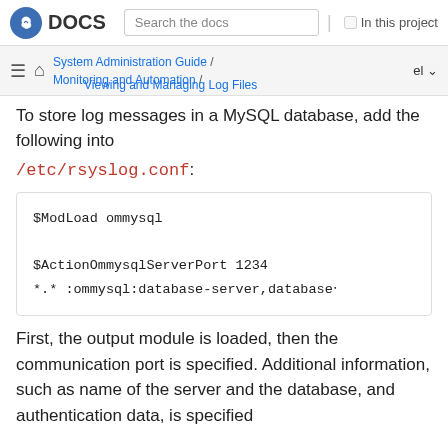DOCS   Search the docs   In this project
System Administration Guide / Monitoring and Automation / Viewing and Managing Log Files   el
To store log messages in a MySQL database, add the following into /etc/rsyslog.conf:
$ModLoad ommysql

$ActionOmmysqlServerPort 1234
*.* :ommysql:database-server,database·
First, the output module is loaded, then the communication port is specified. Additional information, such as name of the server and the database, and authentication data, is specified